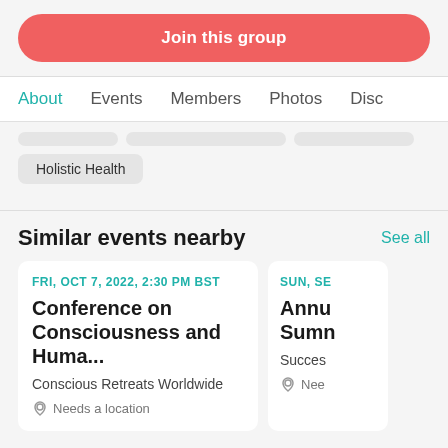Join this group
About | Events | Members | Photos | Disc
Holistic Health
Similar events nearby
See all
FRI, OCT 7, 2022, 2:30 PM BST
Conference on Consciousness and Huma...
Conscious Retreats Worldwide
Needs a location
SUN, SE
Annu Sumn
Succes
Nee